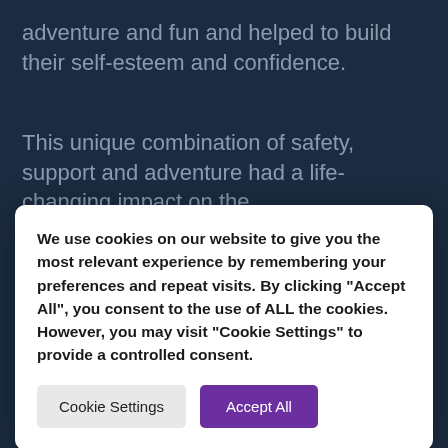adventure and fun and helped to build their self-esteem and confidence.
This unique combination of safety, support and adventure had a life-changing impact on the
We use cookies on our website to give you the most relevant experience by remembering your preferences and repeat visits. By clicking “Accept All”, you consent to the use of ALL the cookies. However, you may visit “Cookie Settings” to provide a controlled consent.
Cookie Settings
Accept All
[Figure (photo): A child lying on a rocky surface smiling at the camera, framed within a circular/arch shape with a blue border, with a cloud illustration on the left side. Set against a dark navy background.]